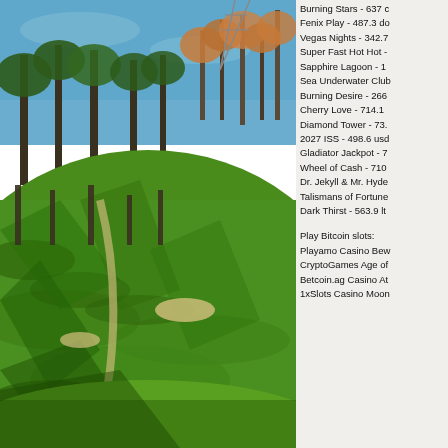[Figure (photo): Golf course with lush green fairways, trees with autumn/bare branches, path winding through, blue sky in background]
Burning Stars - 637 (truncated)
Fenix Play - 487.3 do(truncated)
Vegas Nights - 342.7(truncated)
Super Fast Hot Hot -(truncated)
Sapphire Lagoon - 1(truncated)
Sea Underwater Club(truncated)
Burning Desire - 266(truncated)
Cherry Love - 714.1(truncated)
Diamond Tower - 73.(truncated)
2027 ISS - 498.6 usd(truncated)
Gladiator Jackpot - 7(truncated)
Wheel of Cash - 710(truncated)
Dr. Jekyll & Mr. Hyde(truncated)
Talismans of Fortune(truncated)
Dark Thirst - 563.9 lt(truncated)
Play Bitcoin slots:
Playamo Casino Bew(truncated)
CryptoGames Age of(truncated)
Betcoin.ag Casino At(truncated)
1xSlots Casino Moon(truncated)